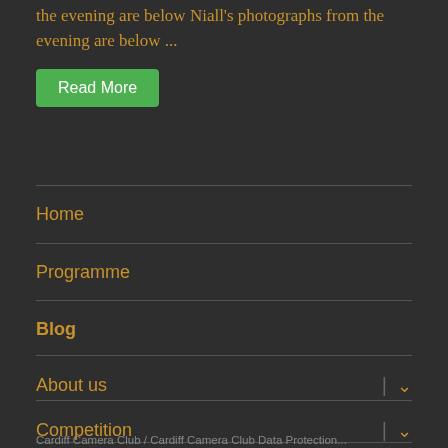the evening are below Niall's photographs from the evening are below ...
Read More
Home
Programme
Blog
About us
Competition
Cardiff Camera Club / Cardiff Camera Club Data Protection...